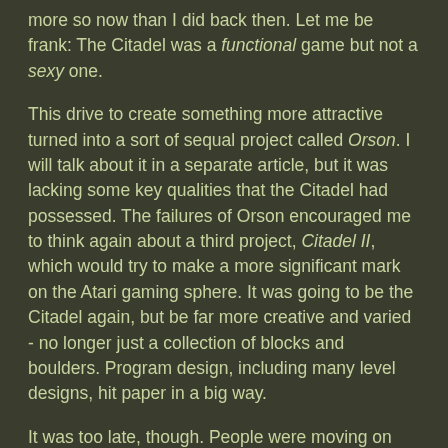more so now than I did back then. Let me be frank: The Citadel was a functional game but not a sexy one.
This drive to create something more attractive turned into a sort of sequal project called Orson. I will talk about it in a separate article, but it was lacking some key qualities that the Citadel had possessed. The failures of Orson encouraged me to think again about a third project, Citadel II, which would try to make a more significant mark on the Atari gaming sphere. It was going to be the Citadel again, but be far more creative and varied - no longer just a collection of blocks and boulders. Program design, including many level designs, hit paper in a big way.
It was too late, though. People were moving on from the Atari and I had to as well. I chose to focus on mathematics and leave the world of coding on the Atari computer behind. Citadel II was discontinued before a single line of code was written.